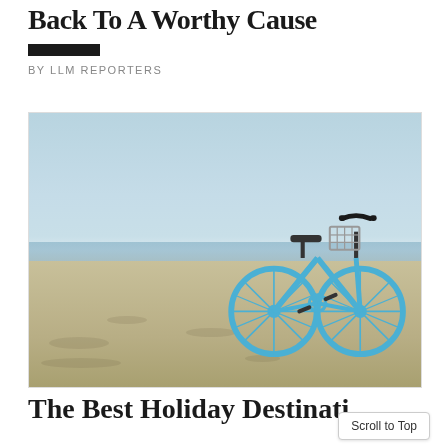Back To A Worthy Cause
BY LLM REPORTERS
[Figure (photo): A light blue beach cruiser bicycle with a wire basket parked on a sandy beach with ocean waves and clear sky in the background.]
The Best Holiday Destinatio…